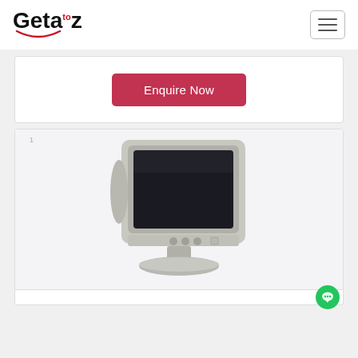Geta to z — navigation header with hamburger menu
[Figure (screenshot): Enquire Now button in red/crimson color on a white card]
[Figure (photo): CRT computer monitor illustration on light grey background, number 1 label in top left corner]
[Figure (other): Green chat bubble icon in bottom right corner]